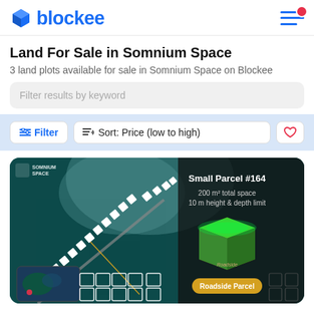blockee
Land For Sale in Somnium Space
3 land plots available for sale in Somnium Space on Blockee
Filter results by keyword
Filter  Sort: Price (low to high)
[Figure (screenshot): Somnium Space land parcel listing card showing a map view with a diagonal path of white square markers. Right panel shows: Small Parcel #164, 200 m² total space, 10 m height & depth limit, a 3D green glowing cube, and a golden button labeled Roadside Parcel. Bottom left shows an aerial map thumbnail.]